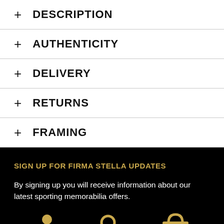+ DESCRIPTION
+ AUTHENTICITY
+ DELIVERY
+ RETURNS
+ FRAMING
SIGN UP FOR FIRMA STELLA UPDATES
By signing up you will receive information about our latest sporting memorabilia offers.
[Figure (illustration): Three golden icons: person/user icon, magnifying glass/search icon, shopping basket icon]